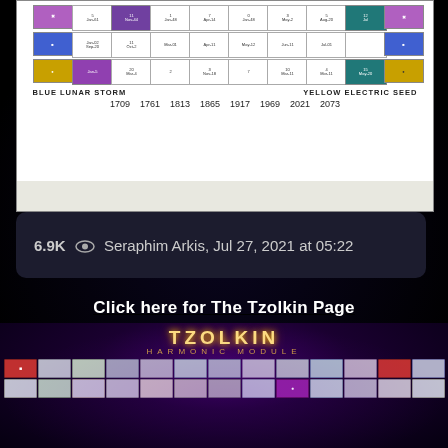[Figure (screenshot): Mayan Tzolkin calendar grid showing Blue Lunar Storm and Yellow Electric Seed with years 1709, 1761, 1813, 1865, 1917, 1969, 2021, 2073]
6.9K 👁 Seraphim Arkis, Jul 27, 2021 at 05:22
Click here for The Tzolkin Page
[Figure (photo): Tzolkin Harmonic Module grid showing colored Mayan day sign tiles arranged in a cosmic space background with purple, red, yellow, white cells]